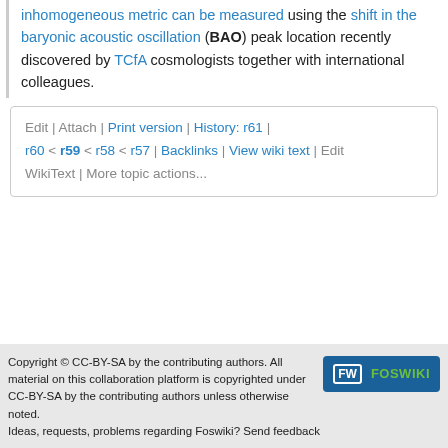inhomogeneous metric can be measured using the shift in the baryonic acoustic oscillation (BAO) peak location recently discovered by TCfA cosmologists together with international colleagues.
Edit | Attach | Print version | History: r61 | r60 < r59 < r58 < r57 | Backlinks | View wiki text | Edit WikiText | More topic actions...
Copyright © CC-BY-SA by the contributing authors. All material on this collaboration platform is copyrighted under CC-BY-SA by the contributing authors unless otherwise noted.
Ideas, requests, problems regarding Foswiki? Send feedback